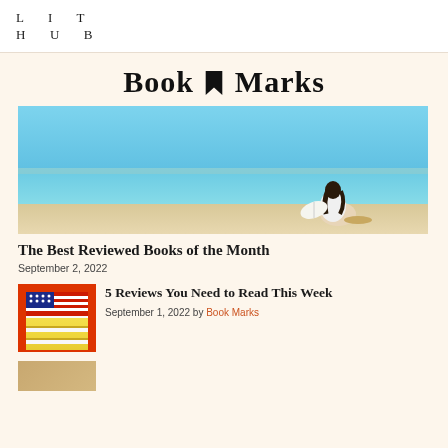LIT
HUB
Book Marks
[Figure (photo): Woman sitting on a beach reading a book, with turquoise water and blue sky in the background]
The Best Reviewed Books of the Month
September 2, 2022
[Figure (photo): A layered cake decorated with an American flag pattern on top, sitting on a red surface]
5 Reviews You Need to Read This Week
September 1, 2022 by Book Marks